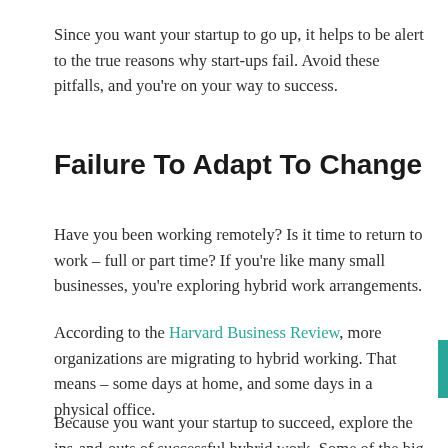Since you want your startup to go up, it helps to be alert to the true reasons why start-ups fail. Avoid these pitfalls, and you're on your way to success.
Failure To Adapt To Change
Have you been working remotely? Is it time to return to work – full or part time? If you're like many small businesses, you're exploring hybrid work arrangements.
According to the Harvard Business Review, more organizations are migrating to hybrid working. That means – some days at home, and some days in a physical office.
Because you want your startup to succeed, explore the ins-and-outs of successful hybrid work. Some of the big